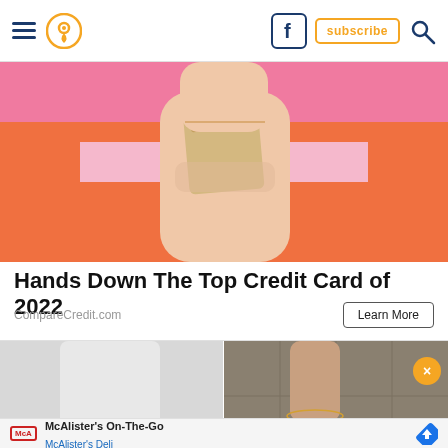Navigation bar with hamburger menu, location icon, Facebook icon, subscribe button, search icon
[Figure (photo): Person in orange and pink striped top holding a credit card against a pink background]
Hands Down The Top Credit Card of 2022
CompareCredit.com
Learn More
[Figure (photo): Two-panel fashion photo: left shows white jeans with dark background, right shows person wearing white sneakers/espadrilles with ankle bracelet on cobblestones]
[Figure (screenshot): McAlister's On-The-Go advertisement with McAlister's Deli logo, name, and Google Maps navigation icon]